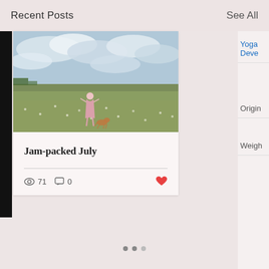Recent Posts
See All
[Figure (photo): Photo of a girl in a pink dress standing in a flowering meadow with a small dog, under a cloudy sky]
Jam-packed July
👁 71   💬 0   ♥
Yoga
Deve
Origin
Weigh